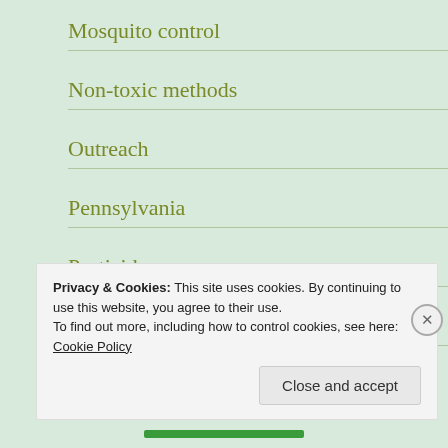Mosquito control
Non-toxic methods
Outreach
Pennsylvania
Pesticides
Pipelines
Privacy & Cookies: This site uses cookies. By continuing to use this website, you agree to their use.
To find out more, including how to control cookies, see here: Cookie Policy
Close and accept